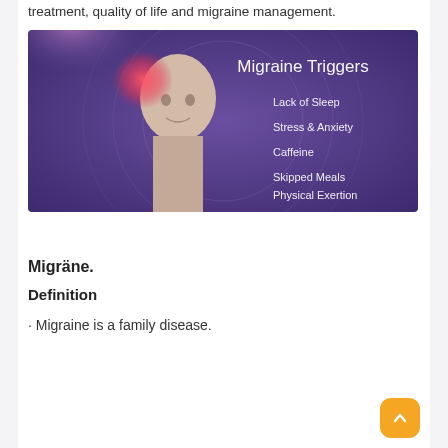treatment, quality of life and migraine management.
[Figure (illustration): A purple-toned medical illustration showing a bald human figure with a red/pink glow on the left side of the head, with text on the right listing migraine triggers: Lack of Sleep, Stress & Anxiety, Caffeine, Skipped Meals, Physical Exertion. Title: Migraine Triggers.]
Migräne.
Definition
· Migraine is a family disease.